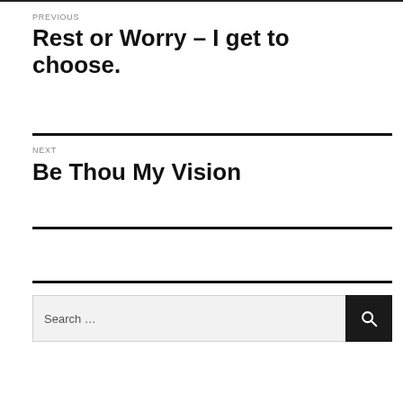PREVIOUS
Rest or Worry – I get to choose.
NEXT
Be Thou My Vision
Search …